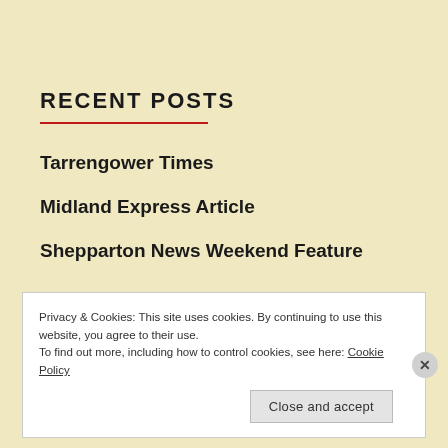RECENT POSTS
Tarrengower Times
Midland Express Article
Shepparton News Weekend Feature
Privacy & Cookies: This site uses cookies. By continuing to use this website, you agree to their use.
To find out more, including how to control cookies, see here: Cookie Policy
Close and accept